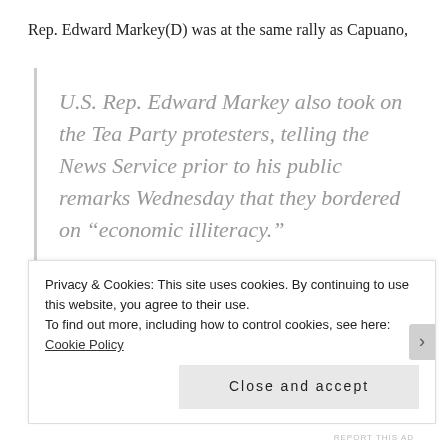Rep. Edward Markey(D) was at the same rally as Capuano,
U.S. Rep. Edward Markey also took on the Tea Party protesters, telling the News Service prior to his public remarks Wednesday that they bordered on “economic illiteracy.”
“Where were they when George Bush
Privacy & Cookies: This site uses cookies. By continuing to use this website, you agree to their use.
To find out more, including how to control cookies, see here: Cookie Policy
Close and accept